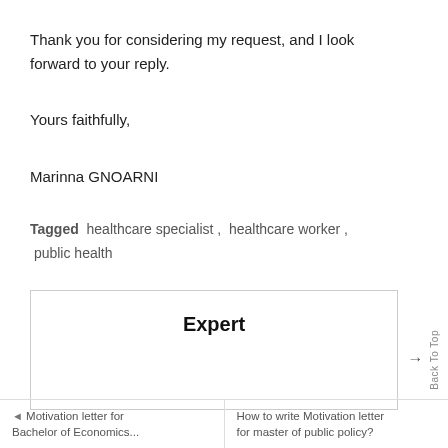Thank you for considering my request, and I look forward to your reply.
Yours faithfully,
Marinna GNOARNI
Tagged  healthcare specialist ,  healthcare worker ,  public health
Expert
◄ Motivation letter for Bachelor of Economics...
How to write Motivation letter for master of public policy?